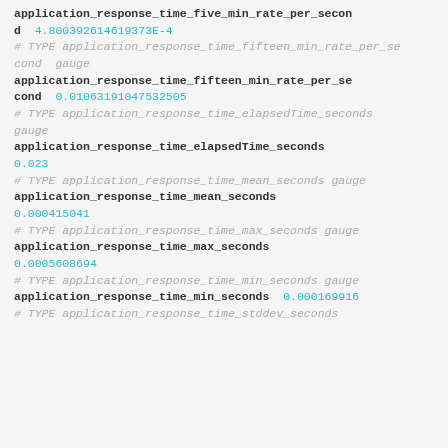application_response_time_five_min_rate_per_second 4.800392614619373E-4
# TYPE application_response_time_fifteen_min_rate_per_second gauge
application_response_time_fifteen_min_rate_per_second 0.01063191047532505
# TYPE application_response_time_elapsedTime_seconds gauge
application_response_time_elapsedTime_seconds 0.023
# TYPE application_response_time_mean_seconds gauge
application_response_time_mean_seconds 0.000415041
# TYPE application_response_time_max_seconds gauge
application_response_time_max_seconds 0.0005608694
# TYPE application_response_time_min_seconds gauge
application_response_time_min_seconds 0.000169916
# TYPE application_response_time_stddev_seconds